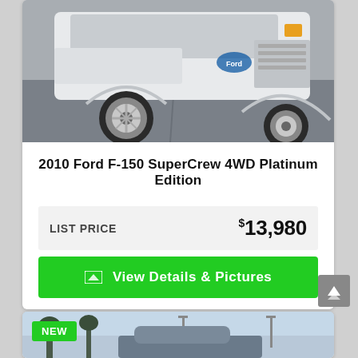[Figure (photo): White Ford F-150 truck front view, parked on wet pavement, silver alloy wheels visible]
2010 Ford F-150 SuperCrew 4WD Platinum Edition
LIST PRICE  $13,980
View Details & Pictures
[Figure (photo): Partially visible car listing photo with NEW badge in green, showing outdoor dealership lot scene]